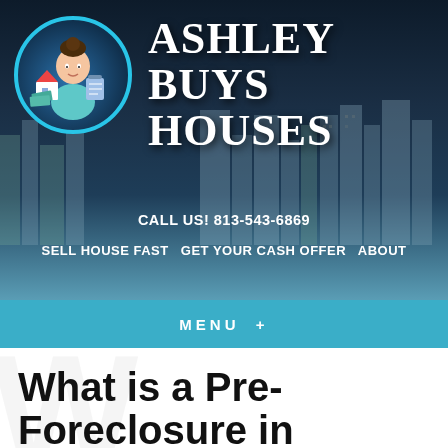[Figure (logo): Ashley Buys Houses website header with logo showing animated woman holding a house and money, city skyline background, site title 'ASHLEY BUYS HOUSES', phone number and navigation links]
MENU +
What is a Pre-Foreclosure in Tampa?
February 26, 2019
By apimpis